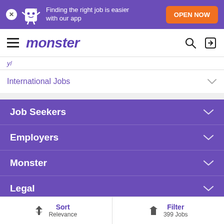[Figure (screenshot): Monster job board mobile app banner with mascot, text 'Finding the right job is easier with our app', and orange OPEN NOW button]
monster
International Jobs
Job Seekers
Employers
Monster
Legal
Sort Relevance | Filter 399 Jobs